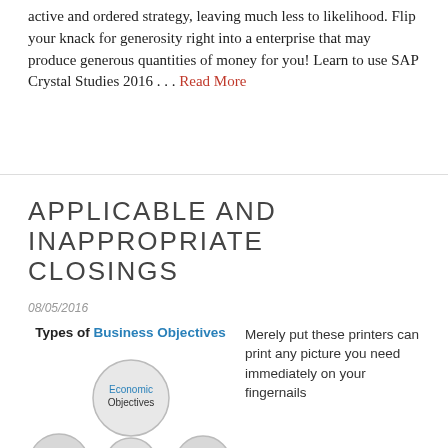active and ordered strategy, leaving much less to likelihood. Flip your knack for generosity right into a enterprise that may produce generous quantities of money for you! Learn to use SAP Crystal Studies 2016 … Read More
APPLICABLE AND INAPPROPRIATE CLOSINGS
08/05/2016
[Figure (infographic): Types of Business Objectives infographic showing bubbles/circles with 'Economic Objectives' labeled in a prominent central bubble and partial bubbles visible at the bottom]
Merely put these printers can print any picture you need immediately on your fingernails